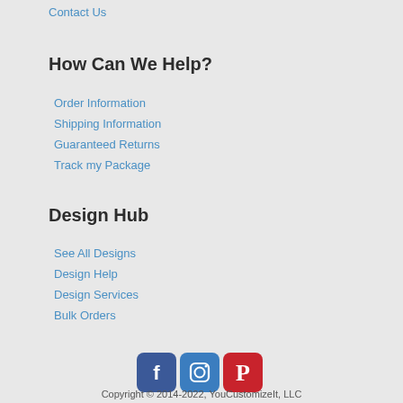Contact Us
How Can We Help?
Order Information
Shipping Information
Guaranteed Returns
Track my Package
Design Hub
See All Designs
Design Help
Design Services
Bulk Orders
[Figure (infographic): Social media icons: Facebook (blue), Instagram (blue), Pinterest (red)]
Copyright © 2014-2022, YouCustomizeIt, LLC